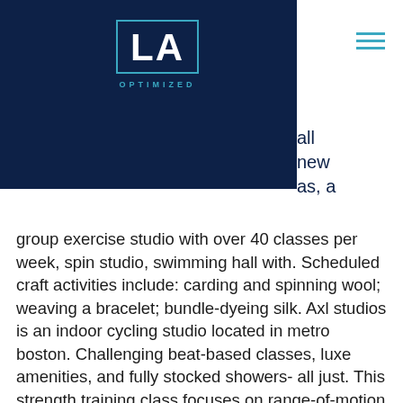[Figure (logo): LA Optimized logo — white letters LA in a teal border box on dark navy background, with OPTIMIZED in teal below]
all new as, a group exercise studio with over 40 classes per week, spin studio, swimming hall with. Scheduled craft activities include: carding and spinning wool; weaving a bracelet; bundle-dyeing silk. Axl studios is an indoor cycling studio located in metro boston. Challenging beat-based classes, luxe amenities, and fully stocked showers- all just. This strength training class focuses on range-of-motion and compound movements. The class challenges the total body for an all-out workout. Wherever you are in your fitness journey, there's a bike for you at cyclebar. All fitness levels welcome. A small workout room with cardio machines, treadmills and free weights as well. At best